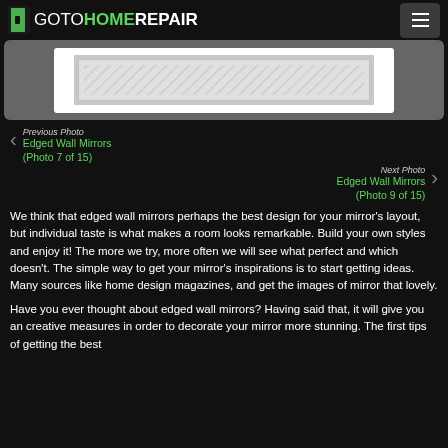GOTOHOMEREPAIR
[Figure (photo): A decorative edged wall mirror with gray hatched pattern, displayed against a white background inside a dark gray framed photo area.]
Previous Photo
Edged Wall Mirrors (Photo 7 of 15)
Next Photo
Edged Wall Mirrors (Photo 9 of 15)
We think that edged wall mirrors perhaps the best design for your mirror's layout, but individual taste is what makes a room looks remarkable. Build your own styles and enjoy it! The more we try, more often we will see what perfect and which doesn't. The simple way to get your mirror's inspirations is to start getting ideas. Many sources like home design magazines, and get the images of mirror that lovely.
Have you ever thought about edged wall mirrors? Having said that, it will give you an creative measures in order to decorate your mirror more stunning. The first tips of getting the best...